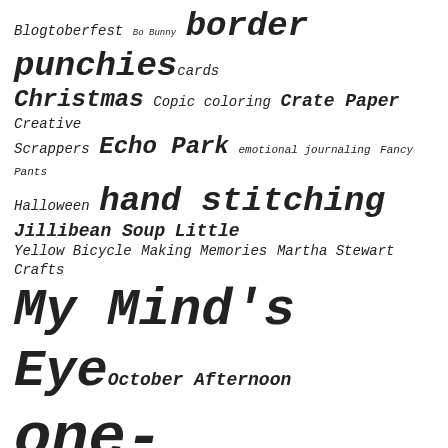Blogtoberfest Bo Bunny border punchies cards Christmas Copic coloring Crate Paper Creative Scrappers Echo Park emotional journaling Fancy Pants Halloween hand stitching Jillibean Soup Little Yellow Bicycle Making Memories Martha Stewart Crafts My Mind's Eye October Afternoon one-page layouts Pebbles Pink Paislee rosette Scrap & Music sketches scrapbook philosophy Silhouette Simple Stories Sketches with a Twist Sketch Support Spellbinders stamping Stuck?! Sketches tutorial Twisted Sketches two-page layouts vintage photos We R Memory